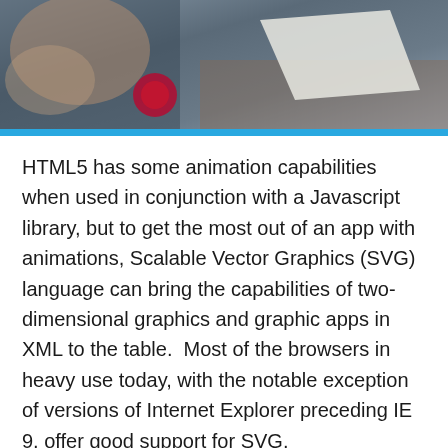[Figure (photo): Background photo showing hands on a wooden surface, partially visible at the top of the page, with a blue horizontal bar at the bottom of the photo area.]
HTML5 has some animation capabilities when used in conjunction with a Javascript library, but to get the most out of an app with animations, Scalable Vector Graphics (SVG) language can bring the capabilities of two-dimensional graphics and graphic apps in XML to the table.  Most of the browsers in heavy use today, with the notable exception of versions of Internet Explorer preceding IE 9, offer good support for SVG.